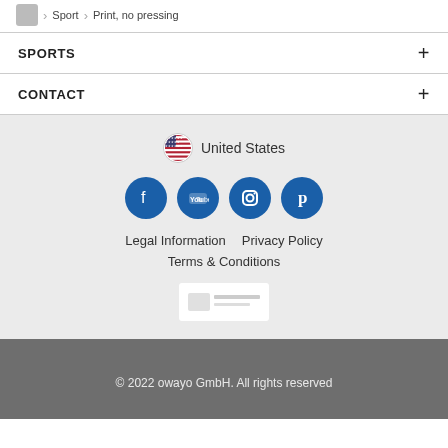Sport / Print, no pressing
SPORTS
CONTACT
United States
[Figure (other): Social media icons: Facebook, YouTube, Instagram, Pinterest]
Legal Information   Privacy Policy
Terms & Conditions
[Figure (other): Trusted shop or partner logo badge (white rectangle)]
© 2022 owayo GmbH. All rights reserved